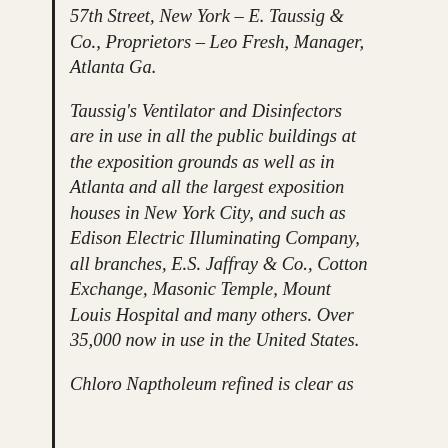57th Street, New York – E. Taussig & Co., Proprietors – Leo Fresh, Manager, Atlanta Ga.
Taussig's Ventilator and Disinfectors are in use in all the public buildings at the exposition grounds as well as in Atlanta and all the largest exposition houses in New York City, and such as Edison Electric Illuminating Company, all branches, E.S. Jaffray & Co., Cotton Exchange, Masonic Temple, Mount Louis Hospital and many others. Over 35,000 now in use in the United States.
Chloro Naptholeum refined is clear as